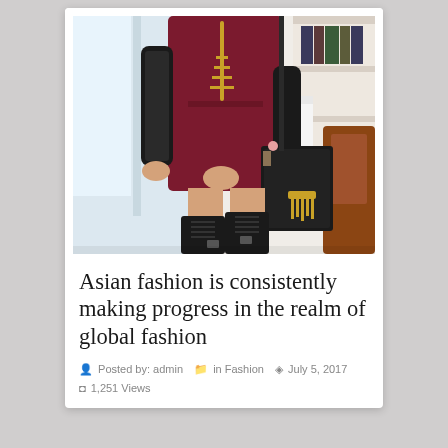[Figure (photo): A woman wearing a dark maroon/burgundy dress with black sequined sleeves and gold chain necklace, black knee-high lace-up boots, holding a black structured handbag. Background shows a bright interior room with shelves and furniture.]
Asian fashion is consistently making progress in the realm of global fashion
Posted by: admin   in Fashion   July 5, 2017   1,251 Views